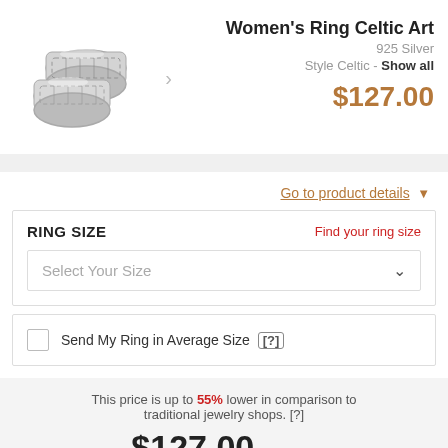[Figure (photo): Two silver Celtic art rings shown at an angle, with intricate knotwork pattern engravings]
Women's Ring Celtic Art
925 Silver
Style Celtic - Show all
$127.00
Go to product details
RING SIZE
Find your ring size
Select Your Size
Send My Ring in Average Size [?]
This price is up to 55% lower in comparison to traditional jewelry shops. [?]
$127.00 excl. TAX
Free Shipping